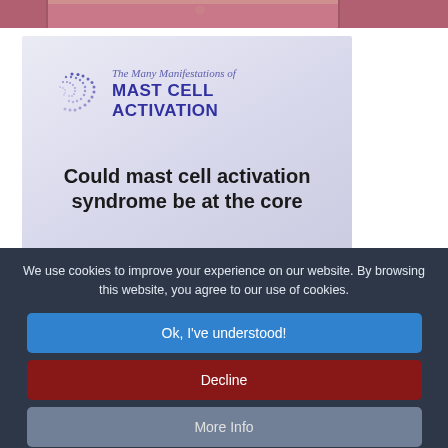[Figure (photo): Partial photo strip at top of page showing a person in red clothing, cropped]
[Figure (illustration): Information card with lavender/grey gradient background showing The Many Manifestations of MAST CELL ACTIVATION logo with dotted arc graphic, and headline text: Could mast cell activation syndrome be at the core]
We use cookies to improve your experience on our website. By browsing this website, you agree to our use of cookies.
Ok, I've understood!
Decline
More Info